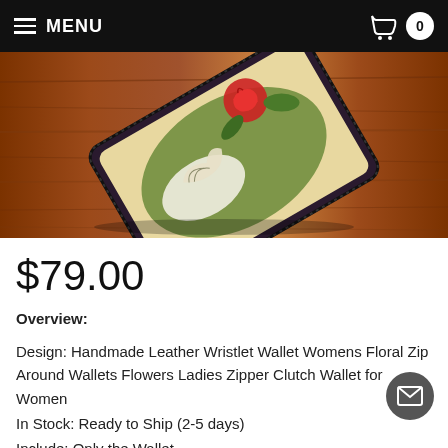MENU | Cart: 0
[Figure (photo): Close-up photo of a handmade leather wristlet wallet with floral carving design (rose and bird motifs in green, red, white) placed on a wooden surface. The wallet has a zipper around the edge.]
$79.00
Overview:
Design: Handmade Leather Wristlet Wallet Womens Floral Zip Around Wallets Flowers Ladies Zipper Clutch Wallet for Women
In Stock: Ready to Ship (2-5 days)
Include: Only the Wallet